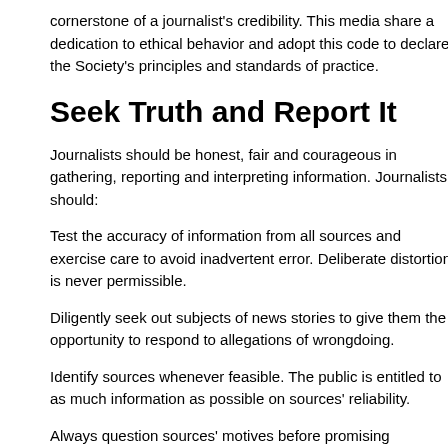cornerstone of a journalist's credibility. This media share a dedication to ethical behavior and adopt this code to declare the Society's principles and standards of practice.
Seek Truth and Report It
Journalists should be honest, fair and courageous in gathering, reporting and interpreting information. Journalists should:
Test the accuracy of information from all sources and exercise care to avoid inadvertent error. Deliberate distortion is never permissible.
Diligently seek out subjects of news stories to give them the opportunity to respond to allegations of wrongdoing.
Identify sources whenever feasible. The public is entitled to as much information as possible on sources' reliability.
Always question sources' motives before promising anonymity. Clarify conditions attached to any promise made in exchange for information. Keep promises.